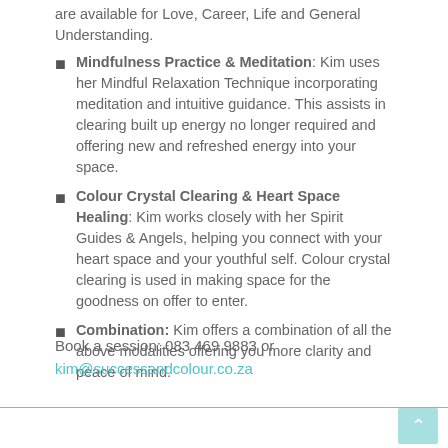are available for Love, Career, Life and General Understanding.
Mindfulness Practice & Meditation: Kim uses her Mindful Relaxation Technique incorporating meditation and intuitive guidance. This assists in clearing built up energy no longer required and offering new and refreshed energy into your space.
Colour Crystal Clearing & Heart Space Healing: Kim works closely with her Spirit Guides & Angels, helping you connect with your heart space and your youthful self. Colour crystal clearing is used in making space for the goodness on offer to enter.
Combination: Kim offers a combination of all the above modalities offering you more clarity and peace of mind.
Book a session: 083 469 9883 or kim@successandcolour.co.za